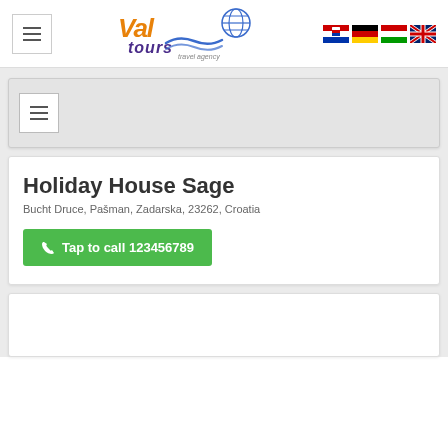[Figure (logo): Val Tours travel agency logo with orange and purple text, wave graphic, and globe icon]
[Figure (illustration): Four country flag icons: Croatia, Germany, Hungary, United Kingdom]
[Figure (illustration): Hamburger menu button (three horizontal lines)]
Holiday House Sage
Bucht Druce, Pašman, Zadarska, 23262, Croatia
Tap to call 123456789